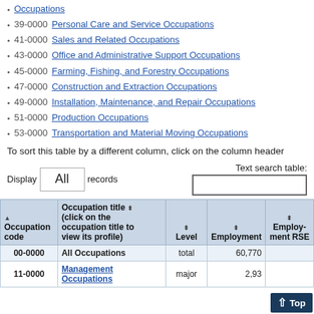Occupations
39-0000 Personal Care and Service Occupations
41-0000 Sales and Related Occupations
43-0000 Office and Administrative Support Occupations
45-0000 Farming, Fishing, and Forestry Occupations
47-0000 Construction and Extraction Occupations
49-0000 Installation, Maintenance, and Repair Occupations
51-0000 Production Occupations
53-0000 Transportation and Material Moving Occupations
To sort this table by a different column, click on the column header
| Occupation code | Occupation title (click on the occupation title to view its profile) | Level | Employment | Employment RSE |
| --- | --- | --- | --- | --- |
| 00-0000 | All Occupations | total | 60,770 |  |
| 11-0000 | Management Occupations | major | 2,93 |  |